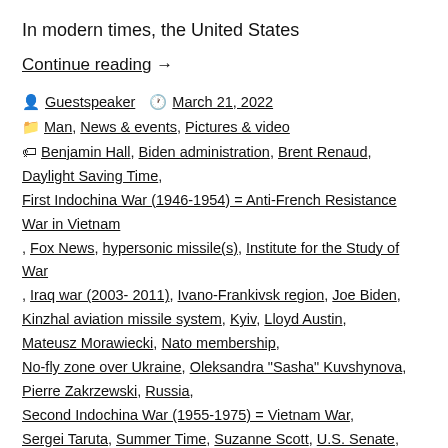In modern times, the United States
Continue reading →
Guestspeaker   March 21, 2022
Man, News & events, Pictures & video
Benjamin Hall, Biden administration, Brent Renaud, Daylight Saving Time, First Indochina War (1946-1954) = Anti-French Resistance War in Vietnam , Fox News, hypersonic missile(s), Institute for the Study of War , Iraq war (2003- 2011), Ivano-Frankivsk region, Joe Biden, Kinzhal aviation missile system, Kyiv, Lloyd Austin, Mateusz Morawiecki, Nato membership, No-fly zone over Ukraine, Oleksandra "Sasha" Kuvshynova, Pierre Zakrzewski, Russia, Second Indochina War (1955-1975) = Vietnam War, Sergei Taruta, Summer Time, Suzanne Scott, U.S. Senate, Ukraine 2022 war, Ukrainian Televison, Volodymyr Zelenskyy, War in Afghanistan (1979-1989) = Soviet invasion of Afghanistan